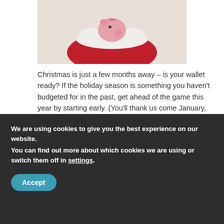[Figure (photo): Santa Claus holding a pink piggy bank, wearing a red and white costume]
Christmas is just a few months away – is your wallet ready? If the holiday season is something you haven't budgeted for in the past, get ahead of the game this year by starting early. (You'll thank us come January, when there's still money in your wallet!)
Get 2016 Tax Ready For Your Accountant Now
August 18, 2016
We are using cookies to give you the best experience on our website.
You can find out more about which cookies we are using or switch them off in settings.
Accept